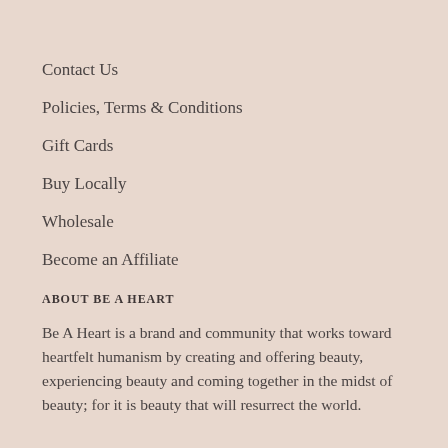Contact Us
Policies, Terms & Conditions
Gift Cards
Buy Locally
Wholesale
Become an Affiliate
ABOUT BE A HEART
Be A Heart is a brand and community that works toward heartfelt humanism by creating and offering beauty, experiencing beauty and coming together in the midst of beauty; for it is beauty that will resurrect the world.